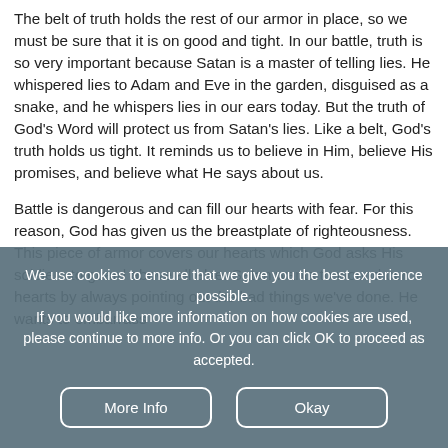The belt of truth holds the rest of our armor in place, so we must be sure that it is on good and tight. In our battle, truth is so very important because Satan is a master of telling lies. He whispered lies to Adam and Eve in the garden, disguised as a snake, and he whispers lies in our ears today. But the truth of God's Word will protect us from Satan's lies. Like a belt, God's truth holds us tight. It reminds us to believe in Him, believe His promises, and believe what He says about us.
Battle is dangerous and can fill our hearts with fear. For this reason, God has given us the breastplate of righteousness. This piece of armor covers our hearts which God asks His soldiers to guard above all else. Satan wants to wound our hearts by always pointing out the bad things we've done. He wants to embarrass
We use cookies to ensure that we give you the best experience possible.
If you would like more information on how cookies are used, please continue to more info. Or you can click OK to proceed as accepted.